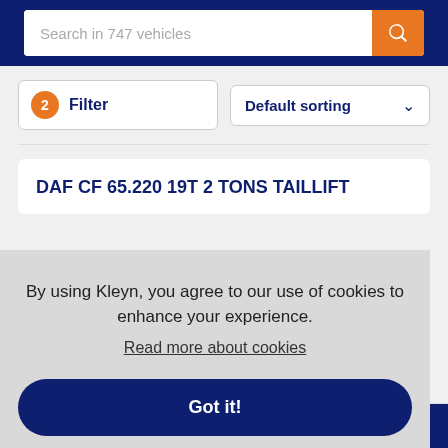Search in 747 vehicles
2 Filter
Default sorting
DAF CF 65.220 19T 2 TONS TAILLIFT
By using Kleyn, you agree to our use of cookies to enhance your experience.
Read more about cookies
Got it!
Stock  Contact  Menu